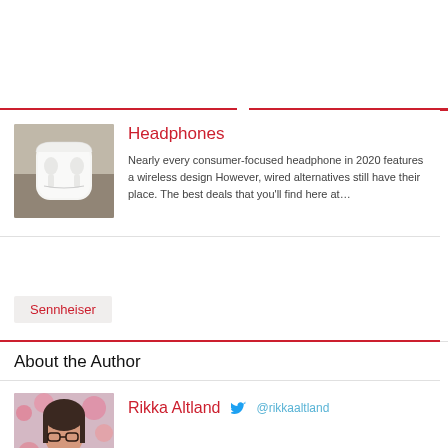[Figure (photo): AirPods Pro in white charging case on wooden surface]
Headphones
Nearly every consumer-focused headphone in 2020 features a wireless design However, wired alternatives still have their place. The best deals that you'll find here at…
Sennheiser
About the Author
[Figure (photo): Photo of Rikka Altland, a person with glasses and dark hair]
Rikka Altland @rikkaaltland